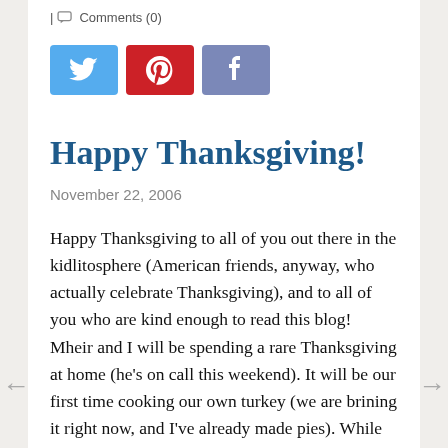| Comments (0)
[Figure (other): Social sharing buttons: Twitter (blue), Pinterest (red), Facebook (purple/blue)]
Happy Thanksgiving!
November 22, 2006
Happy Thanksgiving to all of you out there in the kidlitosphere (American friends, anyway, who actually celebrate Thanksgiving), and to all of you who are kind enough to read this blog! Mheir and I will be spending a rare Thanksgiving at home (he's on call this weekend). It will be our first time cooking our own turkey (we are brining it right now, and I've already made pies). While we're sad not to